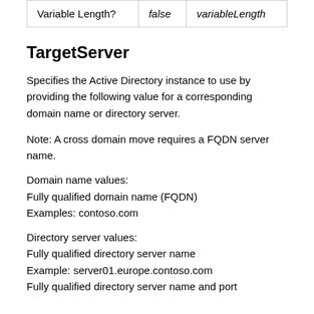| Variable Length? | false | variableLength |
TargetServer
Specifies the Active Directory instance to use by providing the following value for a corresponding domain name or directory server.
Note: A cross domain move requires a FQDN server name.
Domain name values:
Fully qualified domain name (FQDN)
Examples: contoso.com
Directory server values:
Fully qualified directory server name
Example: server01.europe.contoso.com
Fully qualified directory server name and port